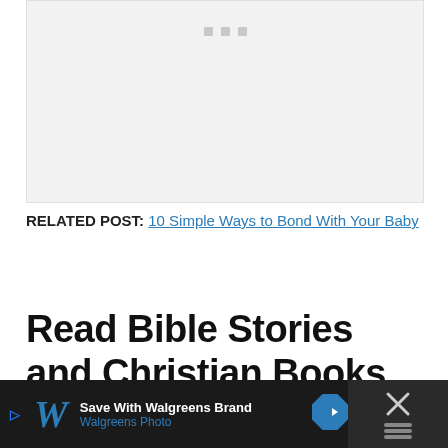[Figure (other): Light gray placeholder box with three small gray squares near the top center, representing a loading or empty image area]
RELATED POST: 10 Simple Ways to Bond With Your Baby
Read Bible Stories and Christian Books
[Figure (other): Partial view of a book cover image at the bottom of the page]
[Figure (other): Walgreens advertisement bar at the bottom: Save With Walgreens Brand, Walgreens Photo]